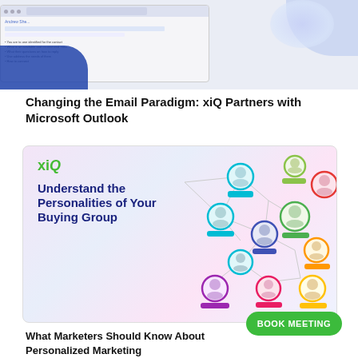[Figure (screenshot): Screenshot of an email interface with Microsoft Outlook, showing a screen mockup with blue watercolor blobs]
Changing the Email Paradigm: xiQ Partners with Microsoft Outlook
[Figure (infographic): xiQ infographic showing 'Understand the Personalities of Your Buying Group' with network of professional profile photos connected by lines, on a colorful watercolor background]
What Marketers Should Know About Personalized Marketing